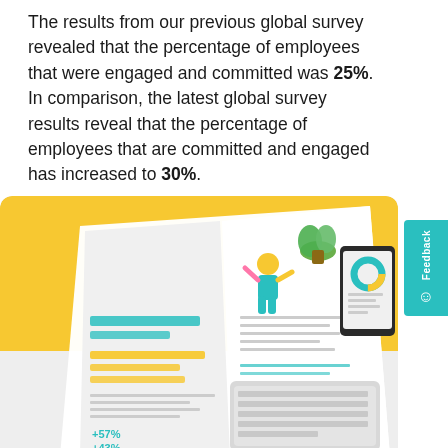The results from our previous global survey revealed that the percentage of employees that were engaged and committed was 25%. In comparison, the latest global survey results reveal that the percentage of employees that are committed and engaged has increased to 30%.
[Figure (photo): Photo of an open booklet/report about employee engagement on a yellow background, with a keyboard, tablet, plant, and illustrated figures visible. The booklet shows text including 'your employee engagement' and 'What are the benefits of employee engagement?']